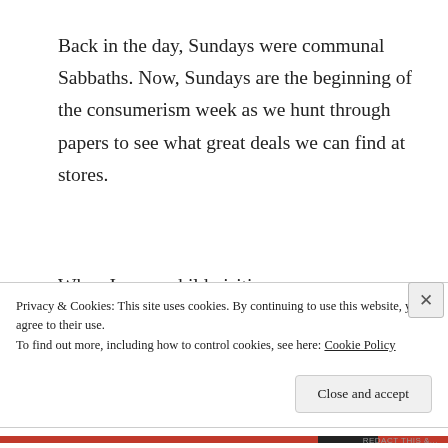Back in the day, Sundays were communal Sabbaths. Now, Sundays are the beginning of the consumerism week as we hunt through papers to see what great deals we can find at stores.
When I was a child visiting my
Privacy & Cookies: This site uses cookies. By continuing to use this website, you agree to their use.
To find out more, including how to control cookies, see here: Cookie Policy